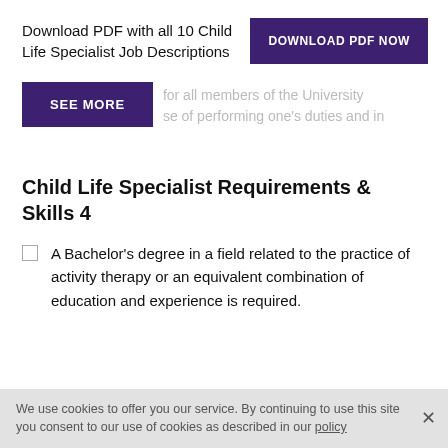Download PDF with all 10 Child Life Specialist Job Descriptions
[Figure (other): Purple button labeled DOWNLOAD PDF NOW]
[Figure (other): Purple button labeled SEE MORE]
for all members of the University se of performing one's duties and in
Child Life Specialist Requirements & Skills 4
A Bachelor's degree in a field related to the practice of activity therapy or an equivalent combination of education and experience is required.
We use cookies to offer you our service. By continuing to use this site you consent to our use of cookies as described in our policy